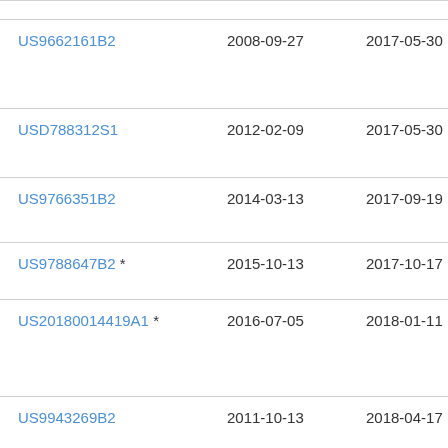| Patent | Filed | Published | Assignee |
| --- | --- | --- | --- |
| US9662161B2 | 2008-09-27 | 2017-05-30 | Wit
Cor |
| USD788312S1 | 2012-02-09 | 2017-05-30 | Ma
Cor |
| US9766351B2 | 2014-03-13 | 2017-09-19 | Bra
Dia |
| US9788647B2 * | 2015-10-13 | 2017-10-17 | Nis |
| US20180014419A1 * | 2016-07-05 | 2018-01-11 | Sna
Equ
Uni |
| US9943269B2 | 2011-10-13 | 2018-04-17 | Ma
Cor |
| US10004327B2 * | 2015-07-17 | 2018-06-26 | Per
LLC |